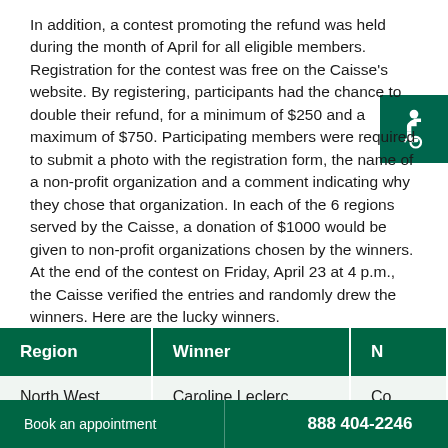In addition, a contest promoting the refund was held during the month of April for all eligible members. Registration for the contest was free on the Caisse's website. By registering, participants had the chance to double their refund, for a minimum of $250 and a maximum of $750. Participating members were required to submit a photo with the registration form, the name of a non-profit organization and a comment indicating why they chose that organization. In each of the 6 regions served by the Caisse, a donation of $1000 would be given to non-profit organizations chosen by the winners. At the end of the contest on Friday, April 23 at 4 p.m., the Caisse verified the entries and randomly drew the winners. Here are the lucky winners.
[Figure (illustration): Wheelchair accessibility icon in white on dark green background]
| Region | Winner | N |
| --- | --- | --- |
| North West | Caroline Leclerc | Co |
Book an appointment   888 404-2246